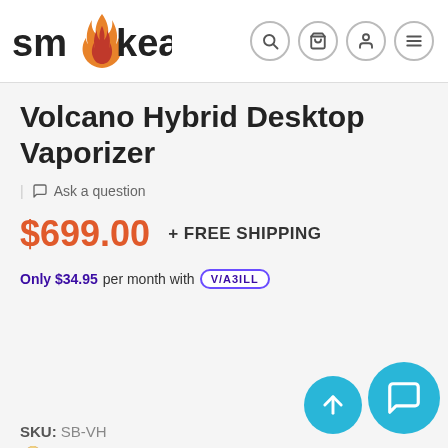[Figure (logo): Smokea brand logo with orange flame replacing the 'o' in smokea]
Volcano Hybrid Desktop Vaporizer
Ask a question
$699.00  + FREE SHIPPING
Only $34.95 per month with VIABILL
SKU: SB-VH
Earn up to 6990 tokins with this product